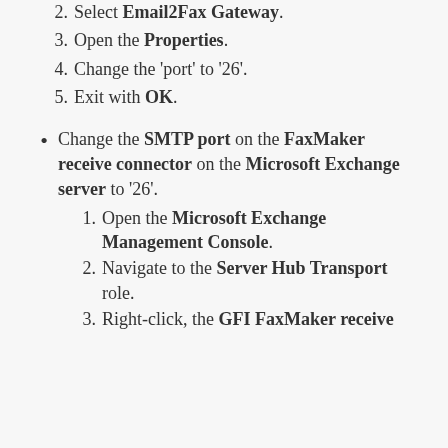2. Select Email2Fax Gateway.
3. Open the Properties.
4. Change the 'port' to '26'.
5. Exit with OK.
Change the SMTP port on the FaxMaker receive connector on the Microsoft Exchange server to '26'.
1. Open the Microsoft Exchange Management Console.
2. Navigate to the Server Hub Transport role.
3. Right-click, the GFI FaxMaker receive